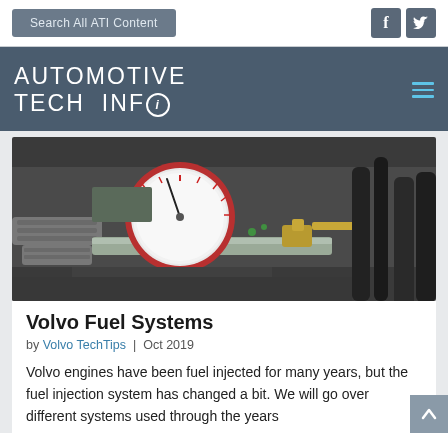Search All ATI Content
AUTOMOTIVE TECH INFO
[Figure (photo): Close-up photo of a fuel pressure gauge (red-rimmed analog gauge) connected to an engine fuel system with brass fittings, hoses, and wiring visible]
Volvo Fuel Systems
by Volvo TechTips | Oct 2019
Volvo engines have been fuel injected for many years, but the fuel injection system has changed a bit. We will go over different systems used through the years